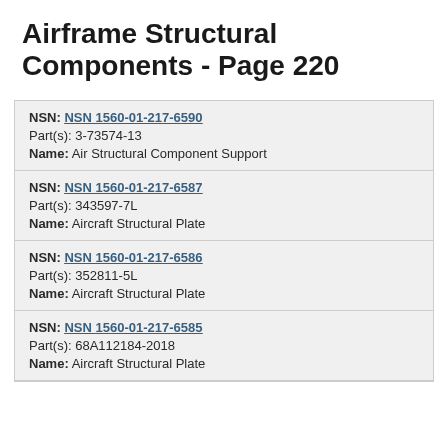Airframe Structural Components - Page 220
NSN: NSN 1560-01-217-6590
Part(s): 3-73574-13
Name: Air Structural Component Support
NSN: NSN 1560-01-217-6587
Part(s): 343597-7L
Name: Aircraft Structural Plate
NSN: NSN 1560-01-217-6586
Part(s): 352811-5L
Name: Aircraft Structural Plate
NSN: NSN 1560-01-217-6585
Part(s): 68A112184-2018
Name: Aircraft Structural Plate